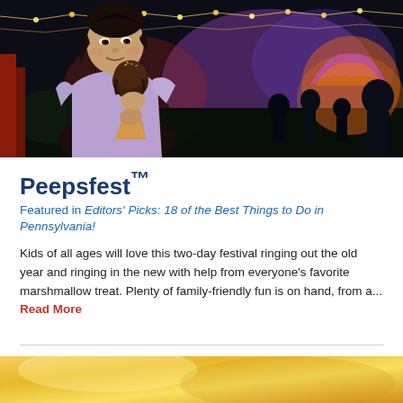[Figure (photo): Young girl eating a chocolate ice cream cone at a nighttime festival, with colorful lights and crowd in background]
Peepsfest™
Featured in Editors' Picks: 18 of the Best Things to Do in Pennsylvania!
Kids of all ages will love this two-day festival ringing out the old year and ringing in the new with help from everyone's favorite marshmallow treat. Plenty of family-friendly fun is on hand, from a... Read More
[Figure (photo): Partial view of a golden/yellow background, likely another event or food photo]